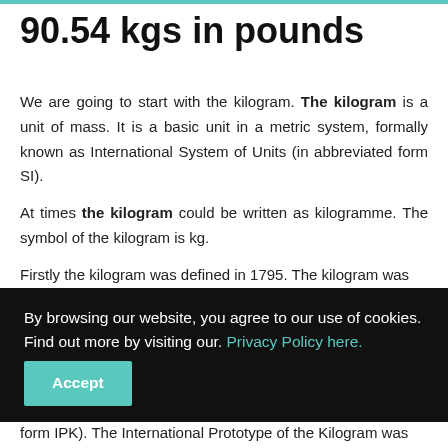90.54 kgs in pounds
We are going to start with the kilogram. The kilogram is a unit of mass. It is a basic unit in a metric system, formally known as International System of Units (in abbreviated form SI).
At times the kilogram could be written as kilogramme. The symbol of the kilogram is kg.
Firstly the kilogram was defined in 1795. The kilogram was
By browsing our website, you agree to our use of cookies. Find out more by visiting our. Privacy Policy here. Accept
form IPK). The International Prototype of the Kilogram was